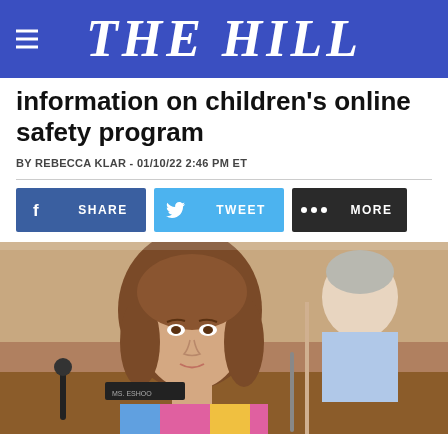THE HILL
information on children's online safety program
BY REBECCA KLAR - 01/10/22 2:46 PM ET
[Figure (infographic): Social sharing buttons: Facebook SHARE, Twitter TWEET, and MORE buttons]
[Figure (photo): A woman with short brown hair sitting at what appears to be a congressional hearing room. An older man is visible in the background.]